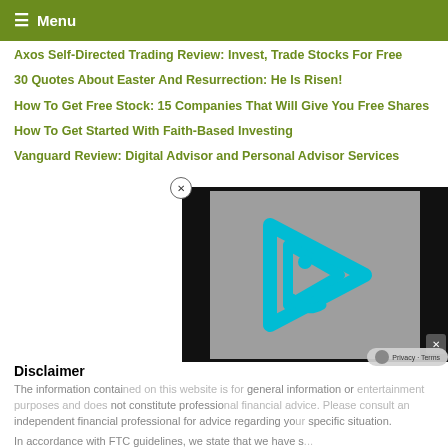≡ Menu
Axos Self-Directed Trading Review: Invest, Trade Stocks For Free
30 Quotes About Easter And Resurrection: He Is Risen!
How To Get Free Stock: 15 Companies That Will Give You Free Shares
How To Get Started With Faith-Based Investing
Vanguard Review: Digital Advisor and Personal Advisor Services
[Figure (screenshot): Video player overlay showing a cyan/teal play button icon (triangle with letter i) on a grey background, with black borders on left and right, and a close (x) button]
Disclaimer
The information contai... general information or ... not constitute professio... independent financial professional for advice regarding yo... specific situation.
In accordance with FTC guidelines, we state that we have s...